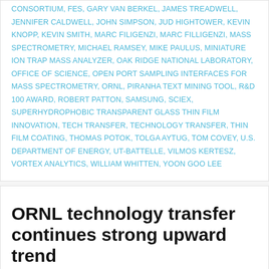CONSORTIUM, FES, GARY VAN BERKEL, JAMES TREADWELL, JENNIFER CALDWELL, JOHN SIMPSON, JUD HIGHTOWER, KEVIN KNOPP, KEVIN SMITH, MARC FILIGENZI, MARC FILLIGENZI, MASS SPECTROMETRY, MICHAEL RAMSEY, MIKE PAULUS, MINIATURE ION TRAP MASS ANALYZER, OAK RIDGE NATIONAL LABORATORY, OFFICE OF SCIENCE, OPEN PORT SAMPLING INTERFACES FOR MASS SPECTROMETRY, ORNL, PIRANHA TEXT MINING TOOL, R&D 100 AWARD, ROBERT PATTON, SAMSUNG, SCIEX, SUPERHYDROPHOBIC TRANSPARENT GLASS THIN FILM INNOVATION, TECH TRANSFER, TECHNOLOGY TRANSFER, THIN FILM COATING, THOMAS POTOK, TOLGA AYTUG, TOM COVEY, U.S. DEPARTMENT OF ENERGY, UT-BATTELLE, VILMOS KERTESZ, VORTEX ANALYTICS, WILLIAM WHITTEN, YOON GOO LEE
ORNL technology transfer continues strong upward trend